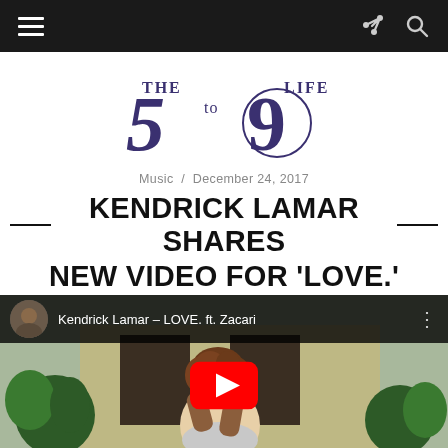Navigation bar with hamburger menu, share and search icons
[Figure (logo): The 5 to 9 Life logo — stylized numerals 5 and 9 in dark purple/navy with 'THE', 'to', and 'LIFE' text]
Music  /  December 24, 2017
KENDRICK LAMAR SHARES NEW VIDEO FOR 'LOVE.'
[Figure (screenshot): YouTube video embed showing 'Kendrick Lamar - LOVE. ft. Zacari' with a woman with curly hair braiding in front of a house, YouTube play button overlay, video thumbnail avatar and title bar at top]